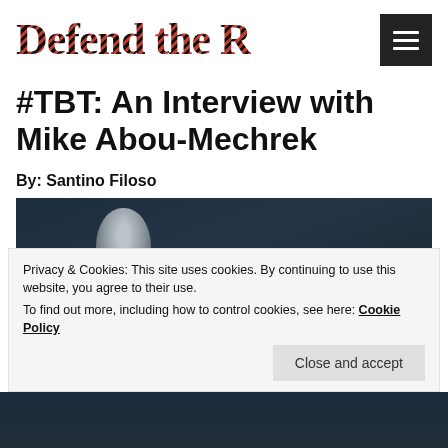Defend the R
#TBT: An Interview with Mike Abou-Mechrek
By: Santino Filoso
[Figure (photo): Photo of a person, dark background, partial view]
Privacy & Cookies: This site uses cookies. By continuing to use this website, you agree to their use.
To find out more, including how to control cookies, see here: Cookie Policy
Close and accept
[Figure (photo): Photo at bottom, dark background with people]